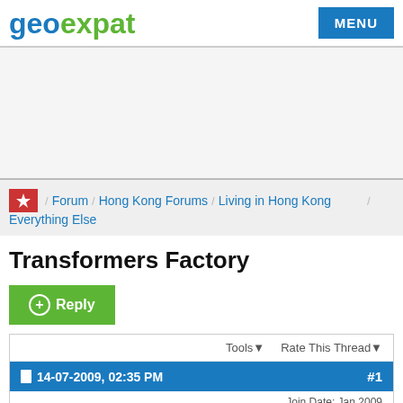geoexpat | MENU
[Figure (other): Advertisement/blank area]
Forum / Hong Kong Forums / Living in Hong Kong / Everything Else
Transformers Factory
Reply
Tools ▾  Rate This Thread ▾
14-07-2009, 02:35 PM  #1
Join Date: Jan 2009